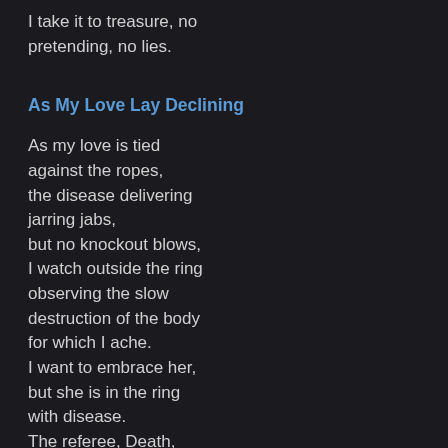I take it to treasure, no pretending, no lies.
As My Love Lay Declining
As my love is tied
against the ropes,
the disease delivering
jarring jabs,
but no knockout blows,
I watch outside the ring
observing the slow
destruction of the body
for which I ache.
I want to embrace her,
but she is in the ring
with disease.
The referee, Death,
ignores the headbutting
and blows beneath the belt.
I want to jump into the ring.